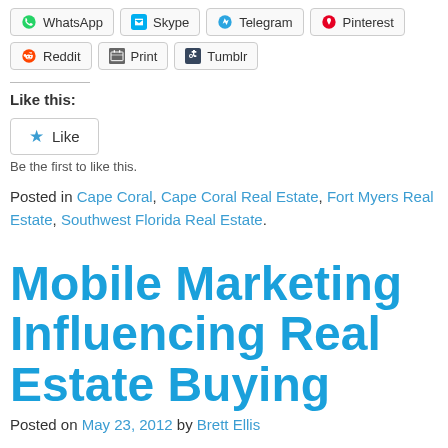WhatsApp  Skype  Telegram  Pinterest
Reddit  Print  Tumblr
Like this:
★ Like
Be the first to like this.
Posted in Cape Coral, Cape Coral Real Estate, Fort Myers Real Estate, Southwest Florida Real Estate.
Mobile Marketing Influencing Real Estate Buying
Posted on May 23, 2012 by Brett Ellis